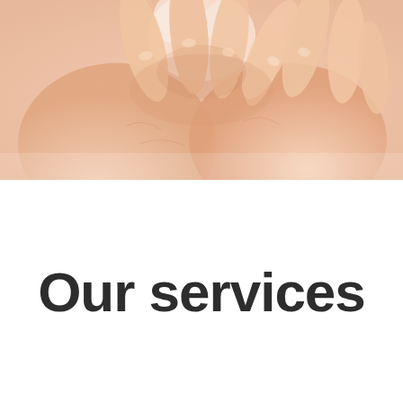[Figure (photo): Close-up photograph of two pairs of hands clasped together, showing intertwined fingers against a white background. The hands appear to be those of older individuals, suggesting a caring or supportive interaction.]
Our services